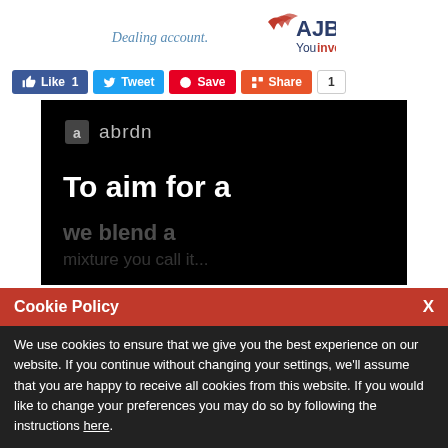[Figure (logo): AJ Bell Youinvest logo with 'Dealing account.' text]
[Figure (infographic): Social sharing buttons: Like 1, Tweet, Save, Share, and count badge 1]
[Figure (screenshot): abrdn video thumbnail with text 'To aim for a' and partially visible text below on black background]
Cookie Policy
We use cookies to ensure that we give you the best experience on our website. If you continue without changing your settings, we'll assume that you are happy to receive all cookies from this website. If you would like to change your preferences you may do so by following the instructions here.